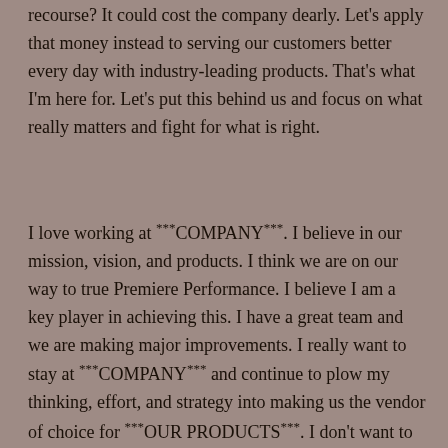recourse? It could cost the company dearly. Let's apply that money instead to serving our customers better every day with industry-leading products. That's what I'm here for. Let's put this behind us and focus on what really matters and fight for what is right.
I love working at ***COMPANY***. I believe in our mission, vision, and products. I think we are on our way to true Premiere Performance. I believe I am a key player in achieving this. I have a great team and we are making major improvements. I really want to stay at ***COMPANY*** and continue to plow my thinking, effort, and strategy into making us the vendor of choice for ***OUR PRODUCTS***. I don't want to leave. I want to add my value here. I beg you, please do not make vaccines mandatory.